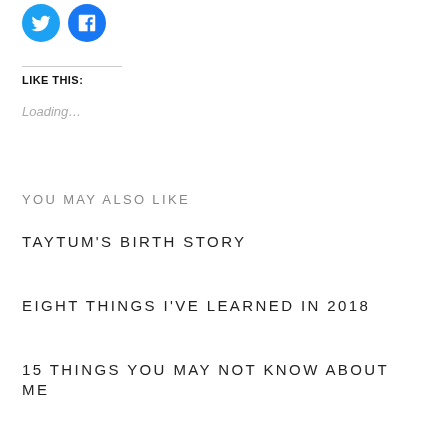[Figure (illustration): Two social media icon circles: Twitter (blue bird icon) and Facebook (blue f icon)]
LIKE THIS:
Loading...
YOU MAY ALSO LIKE
TAYTUM'S BIRTH STORY
EIGHT THINGS I'VE LEARNED IN 2018
15 THINGS YOU MAY NOT KNOW ABOUT ME